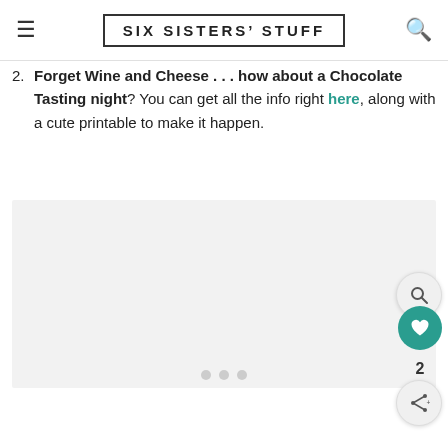SIX SISTERS' STUFF
2. Forget Wine and Cheese . . . how about a Chocolate Tasting night? You can get all the info right here, along with a cute printable to make it happen.
[Figure (photo): Image placeholder area (light gray background with three dots indicating loading or carousel)]